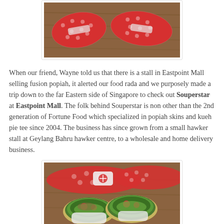[Figure (photo): Wrapped popiah rolls in red patterned paper on a wooden surface, viewed from above]
When our friend, Wayne told us that there is a stall in Eastpoint Mall selling fusion popiah, it alerted our food rada and we purposely made a trip down to the far Eastern side of Singapore to check out Souperstar at Eastpoint Mall. The folk behind Souperstar is non other than the 2nd generation of Fortune Food which specialized in popiah skins and kueh pie tee since 2004. The business has since grown from a small hawker stall at Geylang Bahru hawker centre, to a wholesale and home delivery business.
[Figure (photo): Close-up of cut popiah wraps showing green vegetables and fillings inside, with red-patterned wrapped rolls in the background]